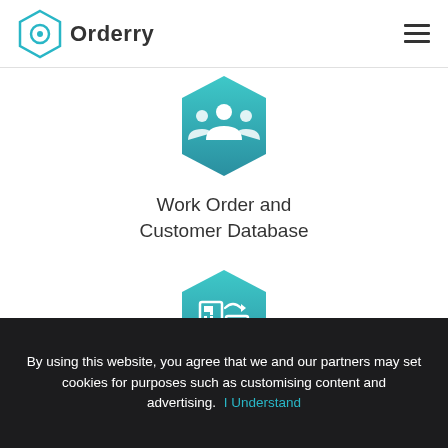[Figure (logo): Orderry logo — hexagon outline icon in teal/blue with a circle and dot inside, next to the text 'Orderry' in dark grey]
[Figure (illustration): Teal hexagon badge with white customer/people group icon at top]
Work Order and
Customer Database
[Figure (illustration): Teal hexagon badge with white QR-code/inventory swap icon]
Inventory of Instruments
and Materials
By using this website, you agree that we and our partners may set cookies for purposes such as customising content and advertising.  I Understand